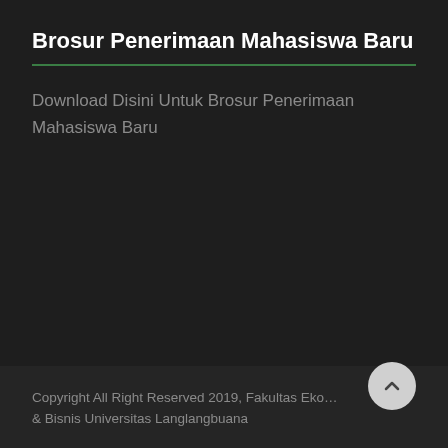Brosur Penerimaan Mahasiswa Baru
Download Disini Untuk Brosur Penerimaan Mahasiswa Baru
Copyright All Right Reserved 2019, Fakultas Ekonomi & Bisnis Universitas Langlangbuana